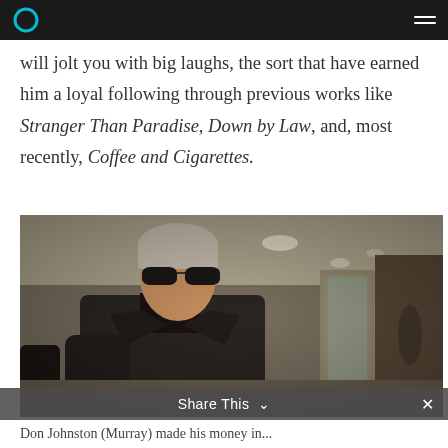Navigation header bar with logo and menu icon
will jolt you with big laughs, the sort that have earned him a loyal following through previous works like Stranger Than Paradise, Down by Law, and, most recently, Coffee and Cigarettes.
[Figure (photo): A man wearing dark sunglasses and a dark blazer standing in what appears to be an indoor public space with ceiling lights visible in the background. The photo is in a slightly warm, cinematic tone.]
Share This
Don Johnston (Murray) made his money in...